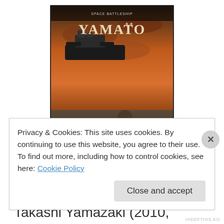[Figure (photo): DVD/Blu-ray cover art for Space Battleship Yamato (2010), showing a soldier kneeling in a post-apocalyptic landscape with a large battleship in the background and a dramatic orange sky. The title 'YAMATO' is prominently displayed at the top.]
Space Battleship Yamato, Takashi Yamazaki (2010, Japan). This is a live action version of a long-running anime property and, while I've been aware of the anime version, anime's not really my thing so I've not made an
Privacy & Cookies: This site uses cookies. By continuing to use this website, you agree to their use.
To find out more, including how to control cookies, see here: Cookie Policy
Close and accept
HIDEFTHIS.KO